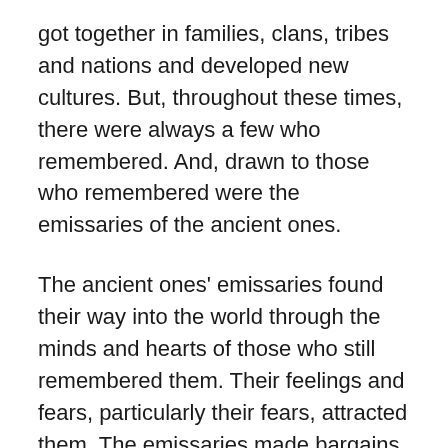got together in families, clans, tribes and nations and developed new cultures. But, throughout these times, there were always a few who remembered. And, drawn to those who remembered were the emissaries of the ancient ones.
The ancient ones' emissaries found their way into the world through the minds and hearts of those who still remembered them. Their feelings and fears, particularly their fears, attracted them. The emissaries made bargains with some of those who remembered them and went to war against the others trying to force all who remembered them into pacts with themselves so that they could sunder the new earth's defenses and invade it in force. They liked the earth. They considered it very creative and entertaining, and wanted to exploit it to feed their monstrous appetites. The ancient ones' emissaries last